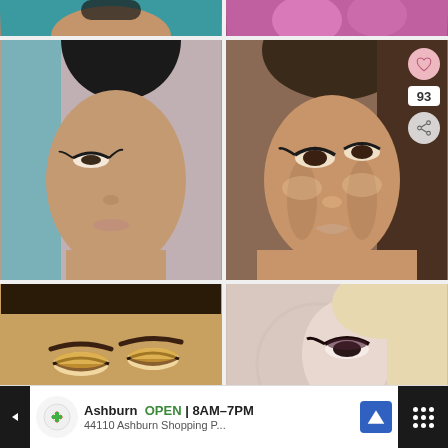[Figure (photo): Partial view of a model with teal/green background and brown skin — top sliver]
[Figure (photo): Partial view of a model with pink/magenta flowers — top sliver]
[Figure (photo): Portrait of a model with dramatic black eyeliner and glowing skin, pink/mauve background]
[Figure (photo): Portrait of a model with smoky eye makeup and bronzed skin on brown background, with heart (93 likes) and share overlay buttons]
[Figure (photo): Close-up of eyes with gold/bronze eye shadow on dark skin — bottom partial]
[Figure (photo): Close-up of a model with dark eye makeup, with 'WHAT'S NEXT → 10 Modern Makeup…' overlay panel]
WHAT'S NEXT → 10 Modern Makeup…
Ashburn  OPEN | 8AM–7PM  44110 Ashburn Shopping P...